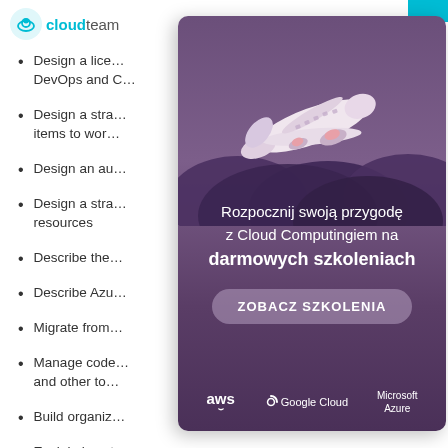cloudteam
Design a lice… DevOps and C…
Design a stra… items to wor…
Design an au…
Design a stra… resources
Describe the…
Describe Azu…
Migrate from…
Manage code… and other to…
Build organiz…
Explain how t…
Describe Git …
[Figure (illustration): Promotional ad overlay showing an airplane flying above stylized purple clouds, with Polish text 'Rozpocznij swoją przygodę z Cloud Computingiem na darmowych szkoleniach', a 'ZOBACZ SZKOLENIA' CTA button, and AWS, Google Cloud, Microsoft Azure logos at the bottom.]